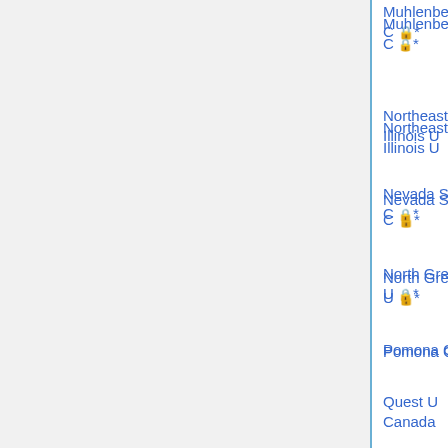Muhlenberg C 🔒* Nov 30 (M)
Northeastern Illinois U
Nevada State C 🔒* Dec 1
North Greenville U 🔒*
Pomona C 🔒* Dec 1
Quest U Canada
Ripon C 🔒* Dec 15
Southeast Missouri State U
Southern New Hampshire U (M)
Smith C 🔒* Nov 15 (M)
Trinity C 🔒* Dec 1